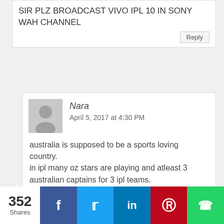SIR PLZ BROADCAST VIVO IPL 10 IN SONY WAH CHANNEL
Nara
April 5, 2017 at 4:30 PM
australia is supposed to be a sports loving country.
in ipl many oz stars are playing and atleast 3 australian captains for 3 ipl teams.
IT IS A PATHETIC JOKE THAT IPL IS NOT ON ANY TV CHANNEL.
SHAME ON YOU TV CHANNELS OF OZ.
V DISAPPOINTED.
352 Shares